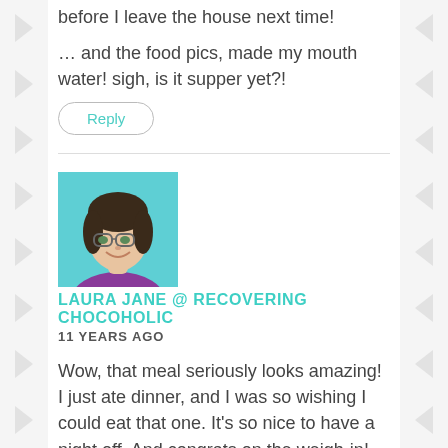before I leave the house next time!
… and the food pics, made my mouth water! sigh, is it supper yet?!
Reply
[Figure (photo): Profile photo of Laura Jane, a woman with glasses and dark hair wearing a purple top, against a teal background]
LAURA JANE @ RECOVERING CHOCOHOLIC
11 YEARS AGO
Wow, that meal seriously looks amazing! I just ate dinner, and I was so wishing I could eat that one. It's so nice to have a night off. And congrats on the weigh-in! Great job!
Reply